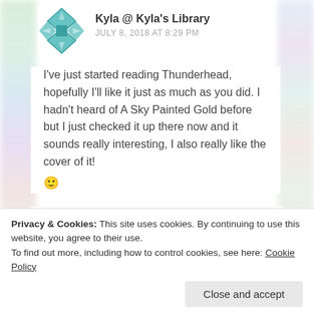Kyla @ Kyla's Library
JULY 8, 2018 AT 8:29 PM
I've just started reading Thunderhead, hopefully I'll like it just as much as you did. I hadn't heard of A Sky Painted Gold before but I just checked it up there now and it sounds really interesting, I also really like the cover of it! 🙂
Like
Reply
Privacy & Cookies: This site uses cookies. By continuing to use this website, you agree to their use.
To find out more, including how to control cookies, see here: Cookie Policy
Close and accept